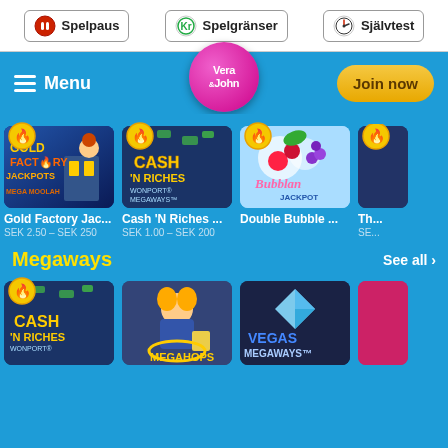[Figure (screenshot): Vera&John casino website screenshot showing top navigation bar with Spelpaus, Spelgränser, Självtest responsible gambling tools, a blue navigation bar with Menu, Vera&John logo, Join now button, hot jackpot games row (Gold Factory Jackpots, Cash N Riches, Double Bubble), Megaways section header with See all link, and bottom row of Megaways games (Cash N Riches, Megahops, Vegas Megaways).]